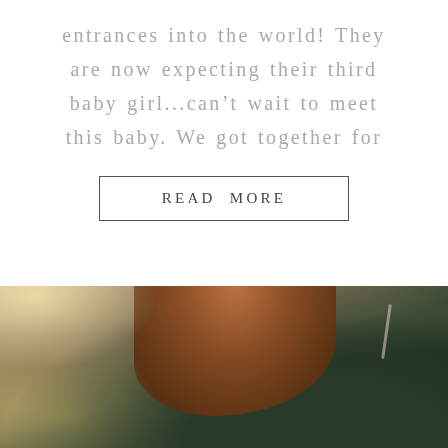entrances into the world! They are now expecting their third baby girl...can't wait to meet this baby. We got together for
READ MORE
[Figure (photo): A pregnant woman viewed from the side/back, wearing a dark green long-sleeve top, with warm reddish-brown hair, a delicate necklace visible, photographed outdoors with warm bokeh lighting.]